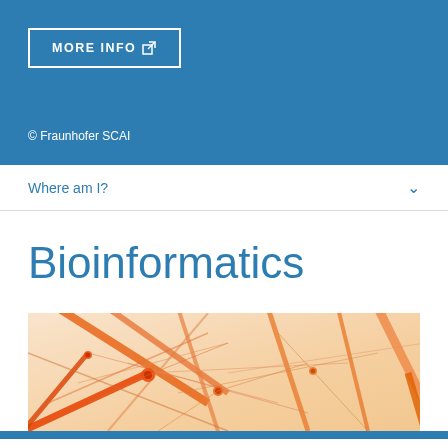[Figure (other): Blue header band with MORE INFO button (bordered rectangle with external link icon) and copyright text '© Fraunhofer SCAI']
Where am I?
Bioinformatics
[Figure (illustration): Close-up illustration of orange and red neural network / neuron connections on a light peach background]
Contact